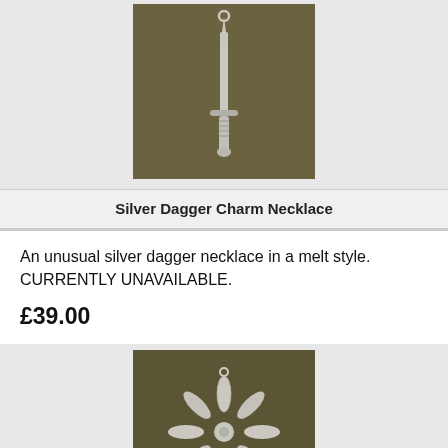[Figure (photo): Silver dagger charm necklace on dark textured background]
Silver Dagger Charm Necklace
An unusual silver dagger necklace in a melt style. CURRENTLY UNAVAILABLE.
£39.00
[Figure (photo): Silver flower/star charm necklace on dark textured background]